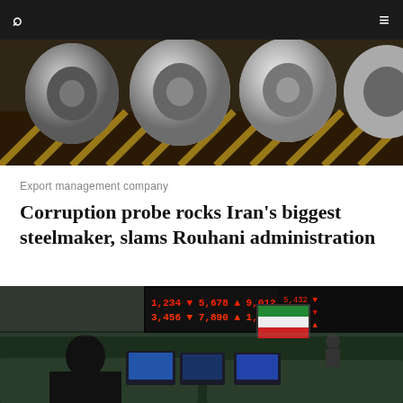[Figure (photo): Steel coils stacked in an industrial facility, metallic silver rolls on a conveyor or shelf]
Export management company
Corruption probe rocks Iran's biggest steelmaker, slams Rouhani administration
[Figure (photo): Tehran stock exchange trading floor with red LED ticker boards displaying stock prices; traders including a woman in hijab at workstations with computer monitors]